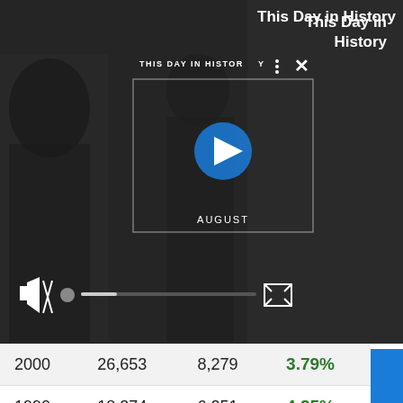[Figure (screenshot): Video player overlay showing 'THIS DAY IN HISTORY' with play button, August label, mute icon, progress bar, and fullscreen button on dark background]
This Day in History
| Year | Col2 | Col3 | Change |
| --- | --- | --- | --- |
| 2000 | 26,653 | 8,279 | 3.79% |
| 1990 | 18,374 | 6,251 | 4.25% |
| 1980 | 12,123 | 4,819 | 5.20% |
| 1970 | 7,304 |  | 0.00% |
[Figure (screenshot): CoinFlip advertisement banner: 'CoinFlip Makes It So Flippin' Easy! Find An ATM Now.']